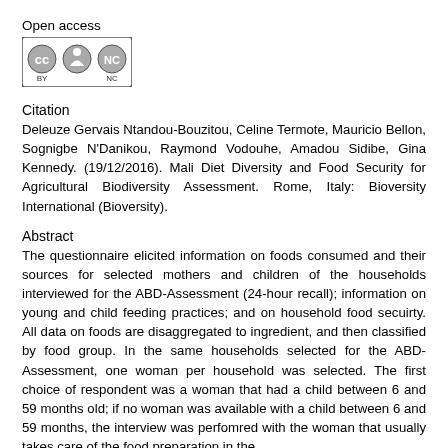Open access
[Figure (logo): Creative Commons BY-NC license badge with CC, person, and NC icons]
Citation
Deleuze Gervais Ntandou-Bouzitou, Celine Termote, Mauricio Bellon, Sognigbe N'Danikou, Raymond Vodouhe, Amadou Sidibe, Gina Kennedy. (19/12/2016). Mali Diet Diversity and Food Security for Agricultural Biodiversity Assessment. Rome, Italy: Bioversity International (Bioversity).
Abstract
The questionnaire elicited information on foods consumed and their sources for selected mothers and children of the households interviewed for the ABD-Assessment (24-hour recall); information on young and child feeding practices; and on household food secuirty. All data on foods are disaggregated to ingredient, and then classified by food group. In the same households selected for the ABD-Assessment, one woman per household was selected. The first choice of respondent was a woman that had a child between 6 and 59 months old; if no woman was available with a child between 6 and 59 months, the interview was perfomred with the woman that usually takes care of the food preparation in the